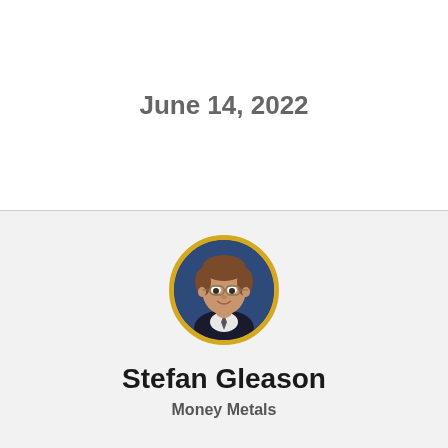June 14, 2022
[Figure (photo): Circular headshot photo of Stefan Gleason with a gold/yellow border, man with brown hair and glasses wearing a dark suit, blue background]
Stefan Gleason
Money Metals